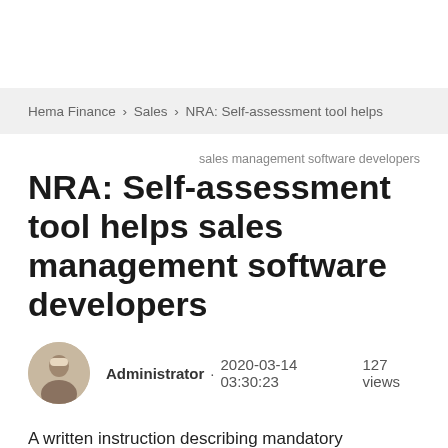Hema Finance > Sales > NRA: Self-assessment tool helps
sales management software developers
NRA: Self-assessment tool helps sales management software developers
Administrator · 2020-03-14 03:30:23    127 views
A written instruction describing mandatory requirements for sales management software